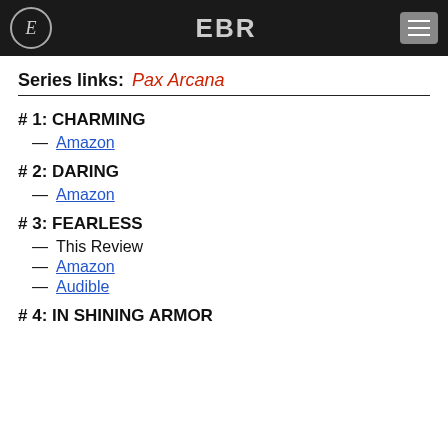EBR
Series links: Pax Arcana
# 1: CHARMING — Amazon
# 2: DARING — Amazon
# 3: FEARLESS — This Review — Amazon — Audible
# 4: IN SHINING ARMOR